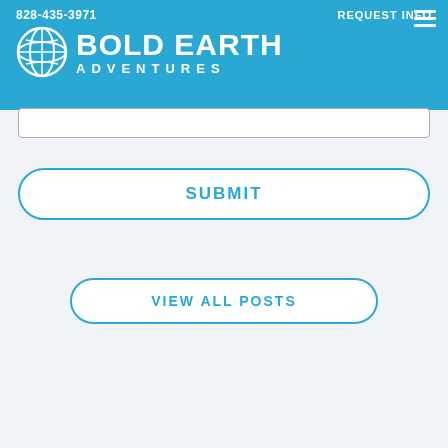828-435-3971   REQUEST INFO
[Figure (logo): Bold Earth Adventures logo with globe icon and white text on blue background]
[Figure (other): Search input field with border]
SUBMIT
VIEW ALL POSTS